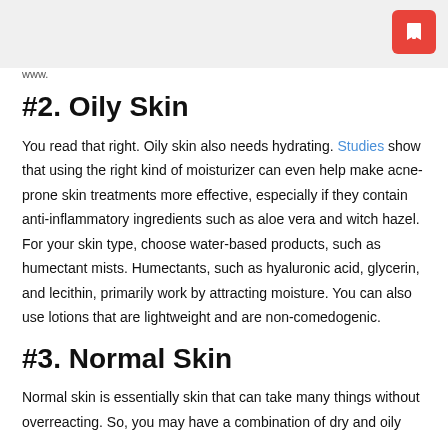www.
#2. Oily Skin
You read that right. Oily skin also needs hydrating. Studies show that using the right kind of moisturizer can even help make acne-prone skin treatments more effective, especially if they contain anti-inflammatory ingredients such as aloe vera and witch hazel. For your skin type, choose water-based products, such as humectant mists. Humectants, such as hyaluronic acid, glycerin, and lecithin, primarily work by attracting moisture. You can also use lotions that are lightweight and are non-comedogenic.
#3. Normal Skin
Normal skin is essentially skin that can take many things without overreacting. So, you may have a combination of dry and oily